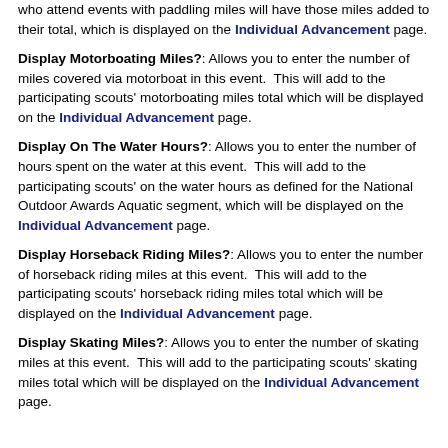who attend events with paddling miles will have those miles added to their total, which is displayed on the Individual Advancement page.
Display Motorboating Miles?: Allows you to enter the number of miles covered via motorboat in this event. This will add to the participating scouts' motorboating miles total which will be displayed on the Individual Advancement page.
Display On The Water Hours?: Allows you to enter the number of hours spent on the water at this event. This will add to the participating scouts' on the water hours as defined for the National Outdoor Awards Aquatic segment, which will be displayed on the Individual Advancement page.
Display Horseback Riding Miles?: Allows you to enter the number of horseback riding miles at this event. This will add to the participating scouts' horseback riding miles total which will be displayed on the Individual Advancement page.
Display Skating Miles?: Allows you to enter the number of skating miles at this event. This will add to the participating scouts' skating miles total which will be displayed on the Individual Advancement page.